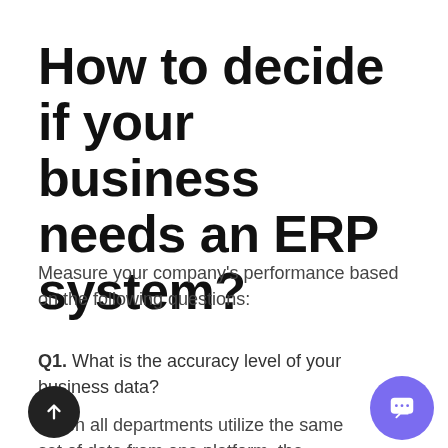How to decide if your business needs an ERP system?
Measure your company's performance based on the following questions:
Q1. What is the accuracy level of your business data?
When all departments utilize the same set of data from one platform, the chances of errors are reduced. Hence, efficiency increases